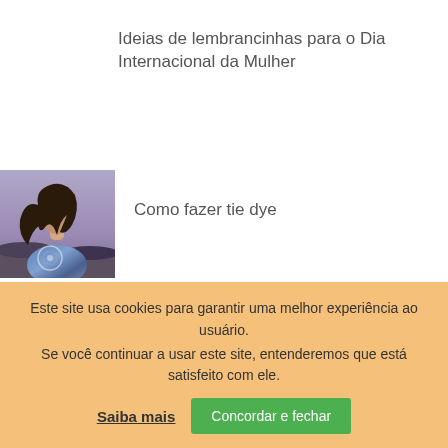Ideias de lembrancinhas para o Dia Internacional da Mulher
[Figure (photo): Young woman wearing a tie dye shirt outdoors by the sea]
Como fazer tie dye
[Figure (photo): Person holding a red fabric face mask near their face]
Como fazer máscara de tecido
Este site usa cookies para garantir uma melhor experiência ao usuário.
Se você continuar a usar este site, entenderemos que está satisfeito com ele.